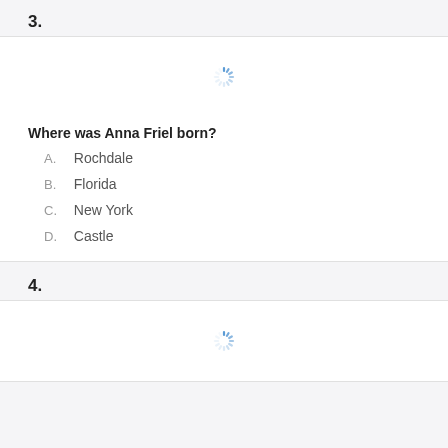3.
[Figure (other): Loading spinner icon (blue dashed circle)]
Where was Anna Friel born?
A. Rochdale
B. Florida
C. New York
D. Castle
4.
[Figure (other): Loading spinner icon (blue dashed circle)]